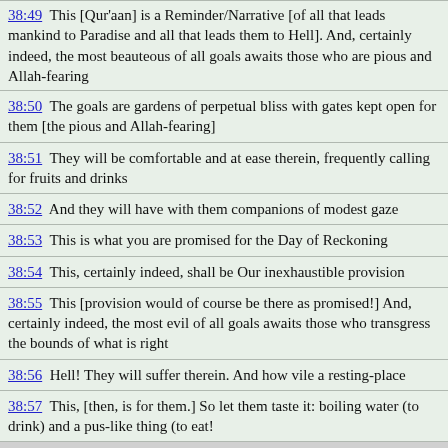38:49  This [Qur'aan] is a Reminder/Narrative [of all that leads mankind to Paradise and all that leads them to Hell]. And, certainly indeed, the most beauteous of all goals awaits those who are pious and Allah-fearing
38:50  The goals are gardens of perpetual bliss with gates kept open for them [the pious and Allah-fearing]
38:51  They will be comfortable and at ease therein, frequently calling for fruits and drinks
38:52  And they will have with them companions of modest gaze
38:53  This is what you are promised for the Day of Reckoning
38:54  This, certainly indeed, shall be Our inexhaustible provision
38:55  This [provision would of course be there as promised!] And, certainly indeed, the most evil of all goals awaits those who transgress the bounds of what is right
38:56  Hell! They will suffer therein. And how vile a resting-place
38:57  This, [then, is for them.] So let them taste it: boiling water (to drink) and a pus-like thing (to eat!